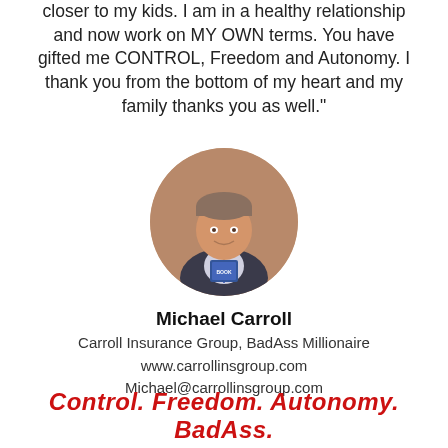closer to my kids. I am in a healthy relationship and now work on MY OWN terms. You have gifted me CONTROL, Freedom and Autonomy. I thank you from the bottom of my heart and my family thanks you as well."
[Figure (photo): Circular headshot photo of Michael Carroll, a middle-aged man in a suit holding a book, smiling at the camera.]
Michael Carroll
Carroll Insurance Group, BadAss Millionaire
www.carrollinsgroup.com
Michael@carrollinsgroup.com
Control. Freedom. Autonomy. BadAss.